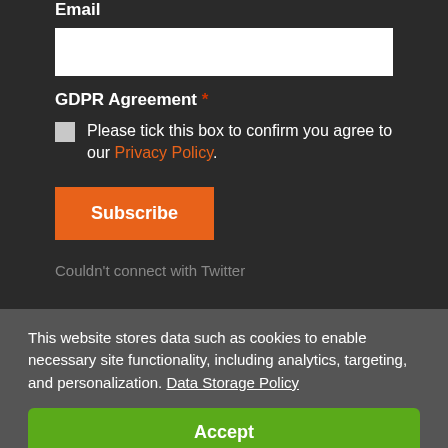Email
GDPR Agreement *
Please tick this box to confirm you agree to our Privacy Policy.
Subscribe
Couldn't connect with Twitter
This website stores data such as cookies to enable necessary site functionality, including analytics, targeting, and personalization. Data Storage Policy
Accept
Deny